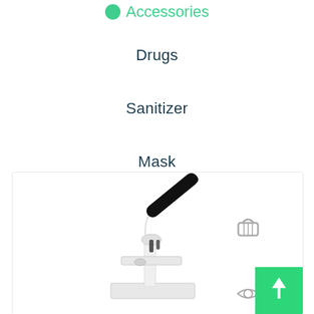Accessories
Drugs
Sanitizer
Mask
[Figure (photo): A white laboratory microscope with black eyepiece tube, shown from the side, on a white background. A green shopping basket icon and eye icon appear to the right. A green button with upward arrow is overlaid in the bottom-right corner.]